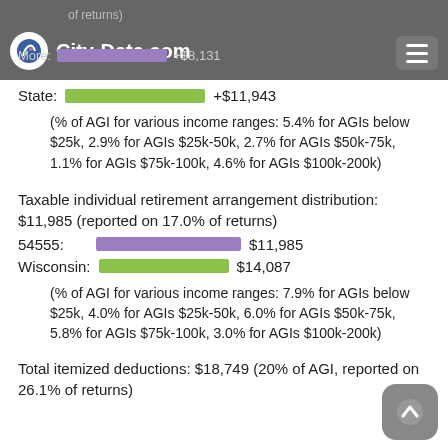City-Data.com
of returns)
More:  +$8,131
State:  +$11,943
(% of AGI for various income ranges: 5.4% for AGIs below $25k, 2.9% for AGIs $25k-50k, 2.7% for AGIs $50k-75k, 1.1% for AGIs $75k-100k, 4.6% for AGIs $100k-200k)
Taxable individual retirement arrangement distribution: $11,985 (reported on 17.0% of returns)
54555:  $11,985
Wisconsin:  $14,087
(% of AGI for various income ranges: 7.9% for AGIs below $25k, 4.0% for AGIs $25k-50k, 6.0% for AGIs $50k-75k, 5.8% for AGIs $75k-100k, 3.0% for AGIs $100k-200k)
Total itemized deductions: $18,749 (20% of AGI, reported on 26.1% of returns)